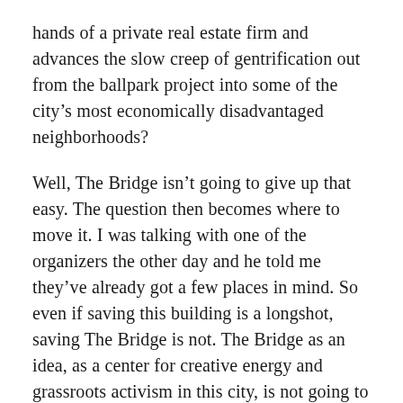hands of a private real estate firm and advances the slow creep of gentrification out from the ballpark project into some of the city's most economically disadvantaged neighborhoods?
Well, The Bridge isn't going to give up that easy. The question then becomes where to move it. I was talking with one of the organizers the other day and he told me they've already got a few places in mind. So even if saving this building is a longshot, saving The Bridge is not. The Bridge as an idea, as a center for creative energy and grassroots activism in this city, is not going to go away. It's going to adapt and survive. Unfortunately, it has to do so in an environment that is actively hostile.
There is no room for The Bridge in the project of